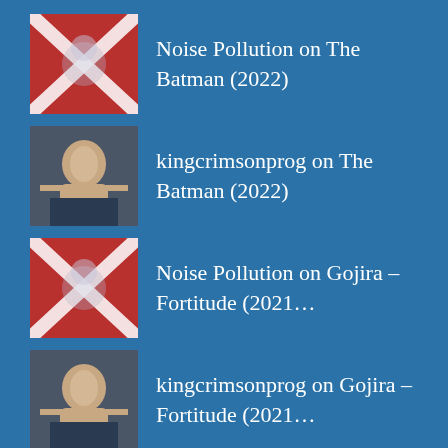Noise Pollution on The Batman (2022)
kingcrimsonprog on The Batman (2022)
Noise Pollution on Gojira – Fortitude (2021…
kingcrimsonprog on Gojira – Fortitude (2021…
Noise Pollution on Mushroomhead – A Wonderf…
Recent Posts